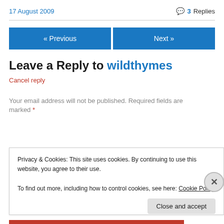17 August 2009
💬 3 Replies
« Previous   Next »
Leave a Reply to wildthymes
Cancel reply
Your email address will not be published. Required fields are marked *
Privacy & Cookies: This site uses cookies. By continuing to use this website, you agree to their use.
To find out more, including how to control cookies, see here: Cookie Policy
Close and accept